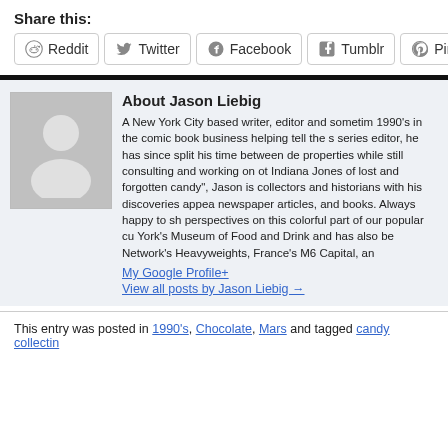Share this:
Reddit  Twitter  Facebook  Tumblr  Pinterest
About Jason Liebig
A New York City based writer, editor and sometime 1990's in the comic book business helping tell the s series editor, he has since split his time between de properties while still consulting and working on ot Indiana Jones of lost and forgotten candy", Jason is collectors and historians with his discoveries appea newspaper articles, and books. Always happy to sh perspectives on this colorful part of our popular cu York's Museum of Food and Drink and has also be Network's Heavyweights, France's M6 Capital, an
My Google Profile+
View all posts by Jason Liebig →
This entry was posted in 1990's, Chocolate, Mars and tagged candy collectin